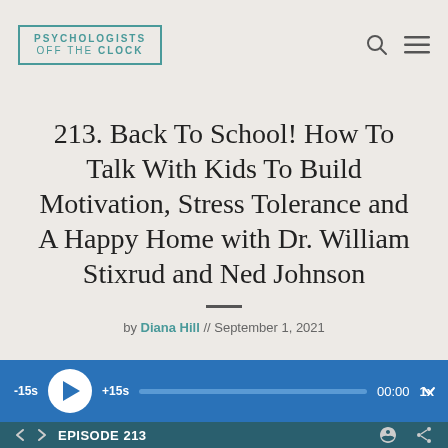PSYCHOLOGISTS OFF THE CLOCK
213. Back To School! How To Talk With Kids To Build Motivation, Stress Tolerance and A Happy Home with Dr. William Stixrud and Ned Johnson
by Diana Hill // September 1, 2021
[Figure (other): Podcast audio player with play button, -15s and +15s skip buttons, progress bar showing 00:00, and 1x speed control on a blue background]
EPISODE 213